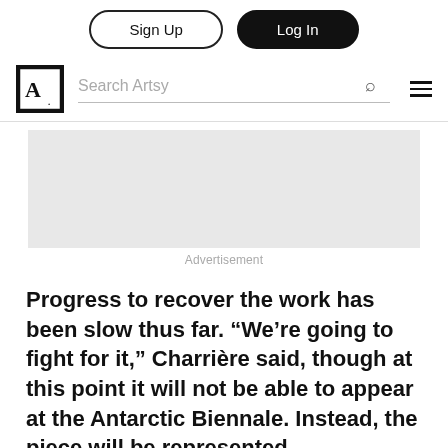Sign Up | Log In
[Figure (logo): Artsy logo — stylized A with period in a square border, next to a search bar with magnifying glass icon and hamburger menu]
[Figure (other): Gray advertisement placeholder block]
Advertisement
Progress to recover the work has been slow thus far. “We’re going to fight for it,” Charrière said, though at this point it will not be able to appear at the Antarctic Biennale. Instead, the piece will be represented